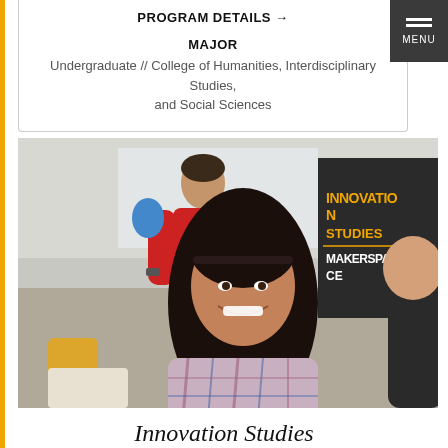PROGRAM DETAILS →
MAJOR
Undergraduate // College of Humanities, Interdisciplinary Studies, and Social Sciences
[Figure (photo): Students in a makerspace/innovation studies room. A smiling young woman with long dark hair wearing a plaid shirt sits in the foreground. Behind her stands a man in a red t-shirt and khaki shorts. To the right is a dark sign with yellow text reading 'INNOVATION STUDIES MAKERSPACE'.]
Innovation Studies